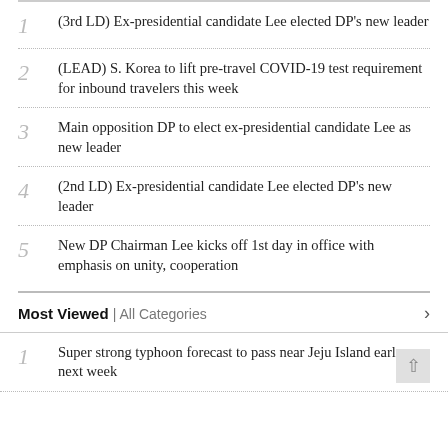1 (3rd LD) Ex-presidential candidate Lee elected DP's new leader
2 (LEAD) S. Korea to lift pre-travel COVID-19 test requirement for inbound travelers this week
3 Main opposition DP to elect ex-presidential candidate Lee as new leader
4 (2nd LD) Ex-presidential candidate Lee elected DP's new leader
5 New DP Chairman Lee kicks off 1st day in office with emphasis on unity, cooperation
Most Viewed | All Categories
1 Super strong typhoon forecast to pass near Jeju Island early next week